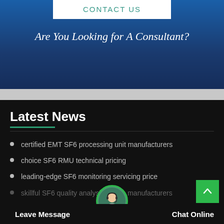CONTACT US
Are You Looking for A Consultant?
Latest News
certified EMT SF6 processing unit manufacturers
choice SF6 RMU technical pricing
leading-edge SF6 monitoring servicing price
skillful SF6 quality analysis manufacturers
choice SF6 purity meter course prices
Leave Message
Chat Online